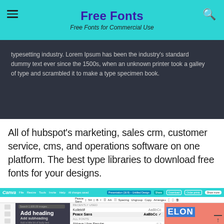Free Fonts — Free Fonts for Commercial Use
typesetting industry. Lorem Ipsum has been the industry's standard dummy text ever since the 1500s, when an unknown printer took a galley of type and scrambled it to make a type specimen book.
All of hubspot's marketing, sales crm, customer service, cms, and operations software on one platform. The best type libraries to download free fonts for your designs.
[Figure (screenshot): Screenshot of Canva design editor showing font selection panel with fonts: Kollektif, Peace Sans (selected), Abhaya Libre Regular, Abhaya Libre ExtraBold, Abhaya Libre SemiBold, Abril Fatface, AdDuha, Adamina Panadan. Canvas shows ELON text on a pink/salmon background.]